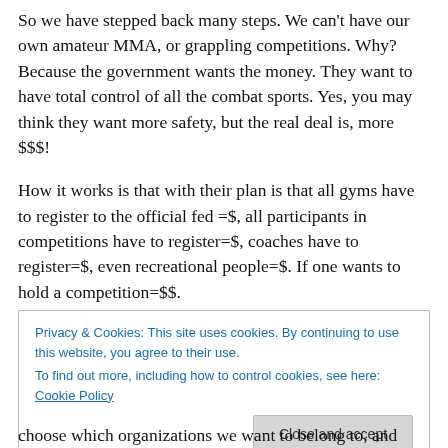So we have stepped back many steps. We can't have our own amateur MMA, or grappling competitions. Why? Because the government wants the money. They want to have total control of all the combat sports. Yes, you may think they want more safety, but the real deal is, more $$$!
How it works is that with their plan is that all gyms have to register to the official fed =$, all participants in competitions have to register=$, coaches have to register=$, even recreational people=$. If one wants to hold a competition=$$.
Privacy & Cookies: This site uses cookies. By continuing to use this website, you agree to their use. To find out more, including how to control cookies, see here: Cookie Policy
choose which organizations we want to belong to, and